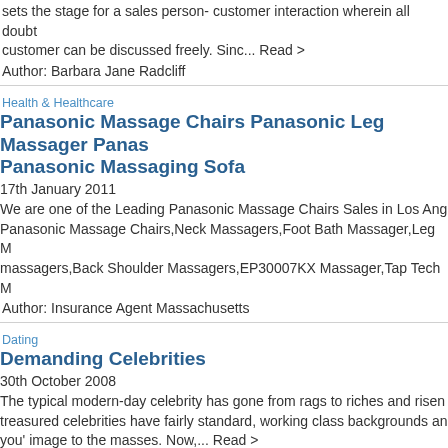sets the stage for a sales person- customer interaction wherein all doubt customer can be discussed freely. Sinc... Read >
Author: Barbara Jane Radcliff
Health & Healthcare
Panasonic Massage Chairs Panasonic Leg Massager Panas Panasonic Massaging Sofa
17th January 2011
We are one of the Leading Panasonic Massage Chairs Sales in Los Ang Panasonic Massage Chairs,Neck Massagers,Foot Bath Massager,Leg M massagers,Back Shoulder Massagers,EP30007KX Massager,Tap Tech M
Author: Insurance Agent Massachusetts
Dating
Demanding Celebrities
30th October 2008
The typical modern-day celebrity has gone from rags to riches and risen treasured celebrities have fairly standard, working class backgrounds an you' image to the masses. Now,... Read >
Author: Robert Palmer
Home-and-Family